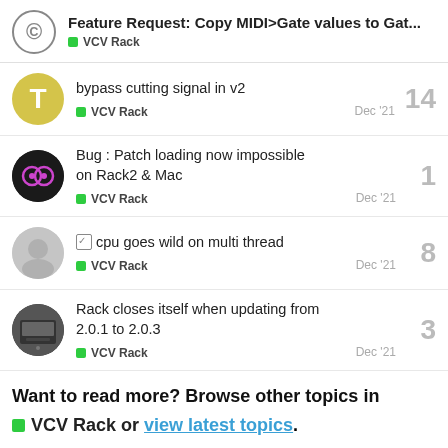Feature Request: Copy MIDI>Gate values to Gat... VCV Rack
bypass cutting signal in v2 — VCV Rack — 14 — Dec '21
Bug : Patch loading now impossible on Rack2 & Mac — VCV Rack — 1 — Dec '21
cpu goes wild on multi thread — VCV Rack — 8 — Dec '21
Rack closes itself when updating from 2.0.1 to 2.0.3 — VCV Rack — 3 — Dec '21
Want to read more? Browse other topics in VCV Rack or view latest topics.